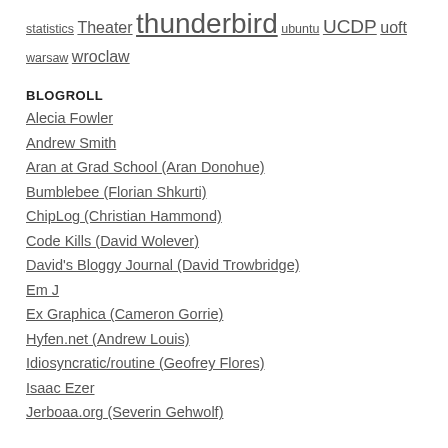statistics Theater thunderbird ubuntu UCDP uoft warsaw wroclaw
BLOGROLL
Alecia Fowler
Andrew Smith
Aran at Grad School (Aran Donohue)
Bumblebee (Florian Shkurti)
ChipLog (Christian Hammond)
Code Kills (David Wolever)
David's Bloggy Journal (David Trowbridge)
Em J
Ex Graphica (Cameron Gorrie)
Hyfen.net (Andrew Louis)
Idiosyncratic/routine (Geofrey Flores)
Isaac Ezer
Jerboaa.org (Severin Gehwolf)